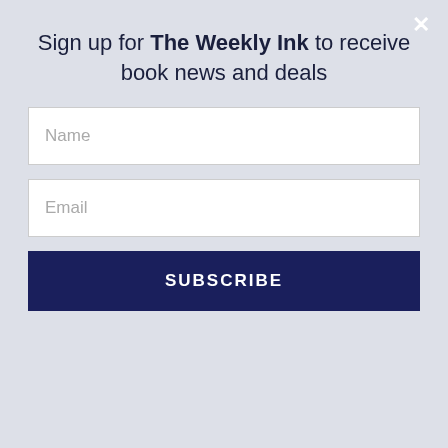Sign up for The Weekly Ink to receive book news and deals
Name
Email
SUBSCRIBE
Breed Vampire Romance series and her award-winning, historical romances, previously released under the pen name Tina St. John.
Lara's Midnight Breed series is available in hardcover, mass market paperback and e-book through Random House, and in limited edition through Doubleday Book Club, Rhapsody Book Club,